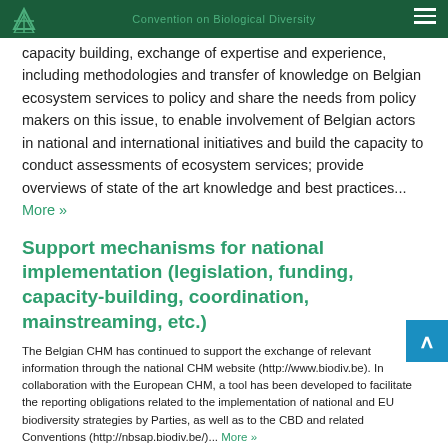Convention on Biological Diversity
capacity building, exchange of expertise and experience, including methodologies and transfer of knowledge on Belgian ecosystem services to policy and share the needs from policy makers on this issue, to enable involvement of Belgian actors in national and international initiatives and build the capacity to conduct assessments of ecosystem services; provide overviews of state of the art knowledge and best practices... More »
Support mechanisms for national implementation (legislation, funding, capacity-building, coordination, mainstreaming, etc.)
The Belgian CHM has continued to support the exchange of relevant information through the national CHM website (http://www.biodiv.be). In collaboration with the European CHM, a tool has been developed to facilitate the reporting obligations related to the implementation of national and EU biodiversity strategies by Parties, as well as to the CBD and related Conventions (http://nbsap.biodiv.be/)... More »
Mechanisms for monitoring and reviewing